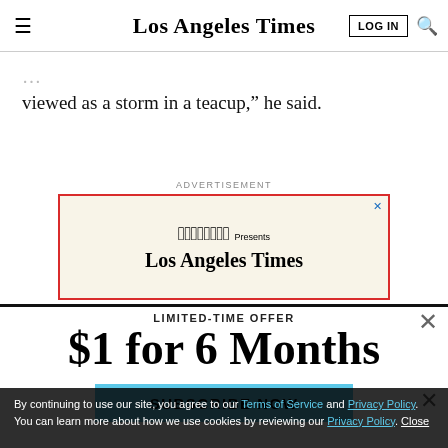Los Angeles Times
viewed as a storm in a teacup," he said.
ADVERTISEMENT
[Figure (other): Advertisement box with red border showing SHOWTIME Presents Los Angeles Times]
LIMITED-TIME OFFER
$1 for 6 Months
SUBSCRIBE NOW
By continuing to use our site, you agree to our Terms of Service and Privacy Policy. You can learn more about how we use cookies by reviewing our Privacy Policy. Close